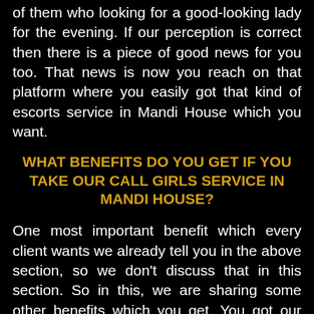of them who looking for a good-looking lady for the evening. If our perception is correct then there is a piece of good news for you too. That news is now you reach on that platform where you easily got that kind of escorts service in Mandi House which you want.
WHAT BENEFITS DO YOU GET IF YOU TAKE OUR CALL GIRLS SERVICE IN MANDI HOUSE?
One most important benefit which every client wants we already tell you in the above section, so we don't discuss that in this section. So in this, we are sharing some other benefits which you get. You got our Call Girls Service in Mandi House at the right time if you book an appointment for our services. We have the potential to provide incall and out call service to any part of this area. So you can enjoy any kind of service. We can arrange any kind of stuff for our clients who take our incall service. So like this, you enjoy many other benefits from our services. Many middle-class